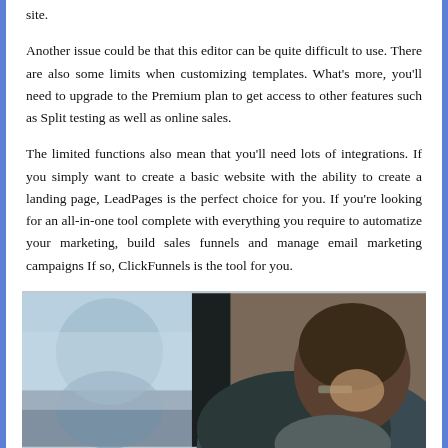site.
Another issue could be that this editor can be quite difficult to use. There are also some limits when customizing templates. What's more, you'll need to upgrade to the Premium plan to get access to other features such as Split testing as well as online sales.
The limited functions also mean that you'll need lots of integrations. If you simply want to create a basic website with the ability to create a landing page, LeadPages is the perfect choice for you. If you're looking for an all-in-one tool complete with everything you require to automatize your marketing, build sales funnels and manage email marketing campaigns If so, ClickFunnels is the tool for you.
[Figure (photo): A person with glasses seen from behind working at a computer, in what appears to be a cafe or workspace with large windows and blurred background.]